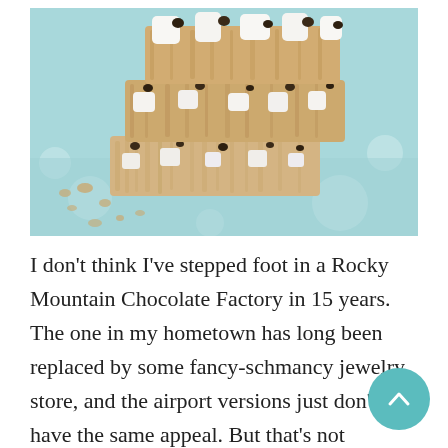[Figure (photo): Close-up photo of stacked rice crispy treat bars with marshmallows and chocolate chips on a light blue polka dot surface]
I don't think I've stepped foot in a Rocky Mountain Chocolate Factory in 15 years. The one in my hometown has long been replaced by some fancy-schmancy jewelry store, and the airport versions just don't have the same appeal. But that's not